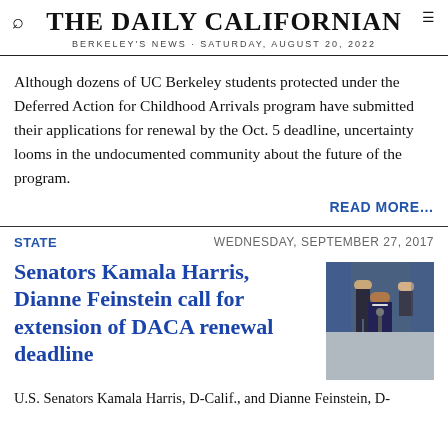THE DAILY CALIFORNIAN
BERKELEY'S NEWS · SATURDAY, AUGUST 20, 2022
Although dozens of UC Berkeley students protected under the Deferred Action for Childhood Arrivals program have submitted their applications for renewal by the Oct. 5 deadline, uncertainty looms in the undocumented community about the future of the program.
READ MORE…
STATE
WEDNESDAY, SEPTEMBER 27, 2017
Senators Kamala Harris, Dianne Feinstein call for extension of DACA renewal deadline
[Figure (photo): Photo of Kamala Harris speaking at a podium with other figures in the background]
U.S. Senators Kamala Harris, D-Calif., and Dianne Feinstein, D-